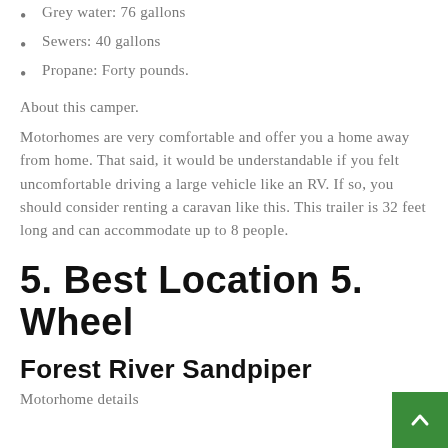Grey water: 76 gallons
Sewers: 40 gallons
Propane: Forty pounds.
About this camper.
Motorhomes are very comfortable and offer you a home away from home. That said, it would be understandable if you felt uncomfortable driving a large vehicle like an RV. If so, you should consider renting a caravan like this. This trailer is 32 feet long and can accommodate up to 8 people.
5. Best Location 5. Wheel
Forest River Sandpiper
Motorhome details